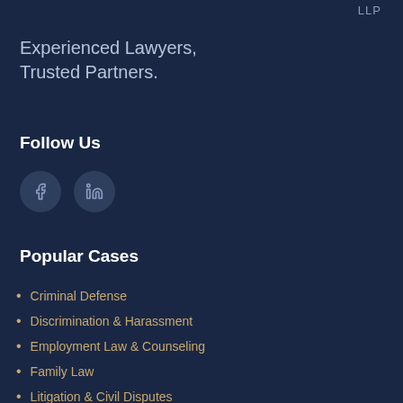LLP
Experienced Lawyers,
Trusted Partners.
Follow Us
[Figure (illustration): Two circular social media icons: Facebook (f) and LinkedIn (in) on dark blue background]
Popular Cases
Criminal Defense
Discrimination & Harassment
Employment Law & Counseling
Family Law
Litigation & Civil Disputes